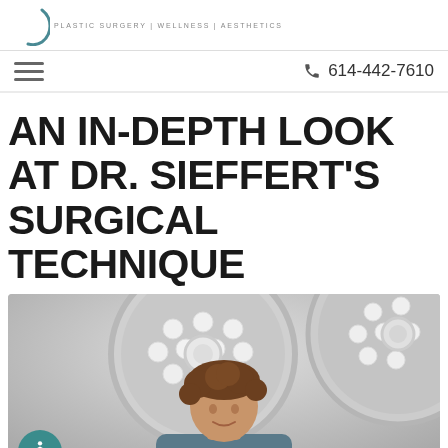PLASTIC SURGERY | WELLNESS | AESTHETICS
614-442-7610
AN IN-DEPTH LOOK AT DR. SIEFFERT'S SURGICAL TECHNIQUE
[Figure (photo): Photo of a doctor with curly hair in a medical setting with large circular surgical LED lights overhead, viewed from slightly below]